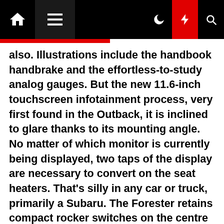Home | Menu | Dark mode | Flash | Search
also. Illustrations include the handbook handbrake and the effortless-to-study analog gauges. But the new 11.6-inch touchscreen infotainment process, very first found in the Outback, it is inclined to glare thanks to its mounting angle. No matter of which monitor is currently being displayed, two taps of the display are necessary to convert on the seat heaters. That's silly in any car or truck, primarily a Subaru. The Forester retains compact rocker switches on the centre console that offer a gratifying simply click when used. The WRX doesn't. The seat heaters also really do not arrive back again on just after a important cycle like quite a few new cars and trucks. At 5-foot-10, I discovered the heart console locations the heart armrest too